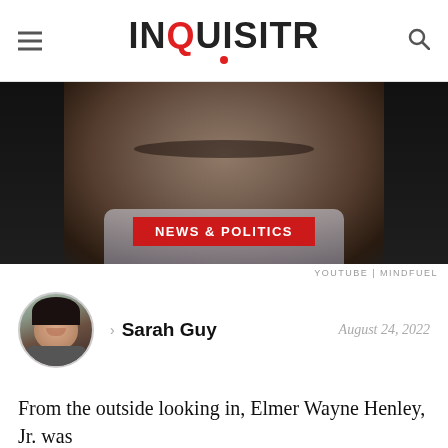INQUISITR
[Figure (photo): Close-up photo of a man's face with dark background, with a red banner reading NEWS & POLITICS overlaid at the bottom]
YOUTUBE | MINDFUEL
[Figure (photo): Circular avatar photo of Sarah Guy, a woman with dark hair]
> Sarah Guy    August 24, 2022
From the outside looking in, Elmer Wayne Henley, Jr. was